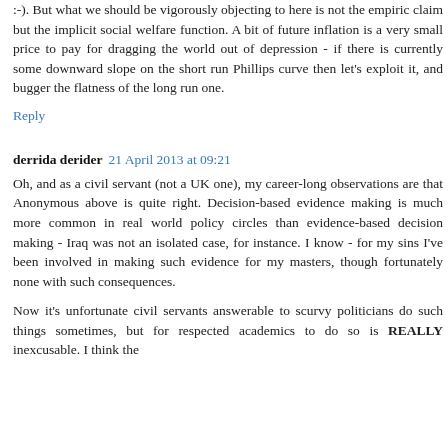:-). But what we should be vigorously objecting to here is not the empiric claim but the implicit social welfare function. A bit of future inflation is a very small price to pay for dragging the world out of depression - if there is currently some downward slope on the short run Phillips curve then let's exploit it, and bugger the flatness of the long run one.
Reply
derrida derider  21 April 2013 at 09:21
Oh, and as a civil servant (not a UK one), my career-long observations are that Anonymous above is quite right. Decision-based evidence making is much more common in real world policy circles than evidence-based decision making - Iraq was not an isolated case, for instance. I know - for my sins I've been involved in making such evidence for my masters, though fortunately none with such consequences.
Now it's unfortunate civil servants answerable to scurvy politicians do such things sometimes, but for respected academics to do so is REALLY inexcusable. I think the